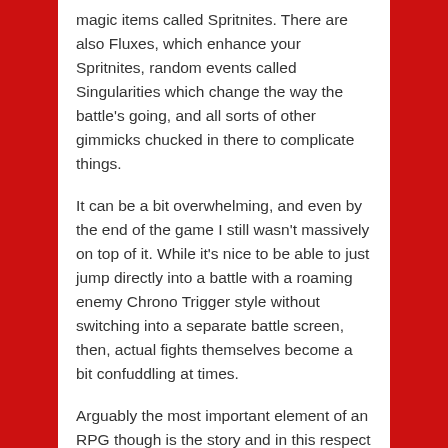magic items called Spritnites. There are also Fluxes, which enhance your Spritnites, random events called Singularities which change the way the battle's going, and all sorts of other gimmicks chucked in there to complicate things.
It can be a bit overwhelming, and even by the end of the game I still wasn't massively on top of it. While it's nice to be able to just jump directly into a battle with a roaming enemy Chrono Trigger style without switching into a separate battle screen, then, actual fights themselves become a bit confuddling at times.
Arguably the most important element of an RPG though is the story and in this respect I Am Setsuna does well. Each character's side-story evolves in an interesting way, and though you can pretty much